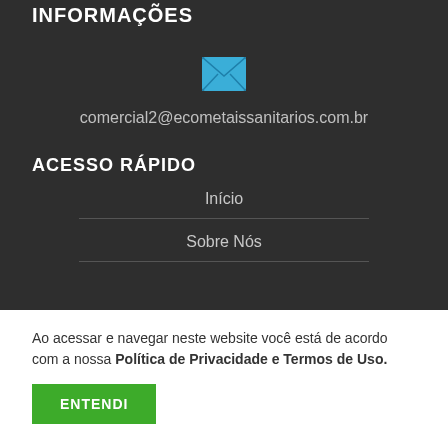INFORMAÇÕES
[Figure (illustration): Email envelope icon in blue/teal color]
comercial2@ecometaissanitarios.com.br
ACESSO RÁPIDO
Início
Sobre Nós
Ao acessar e navegar neste website você está de acordo com a nossa Política de Privacidade e Termos de Uso.
ENTENDI